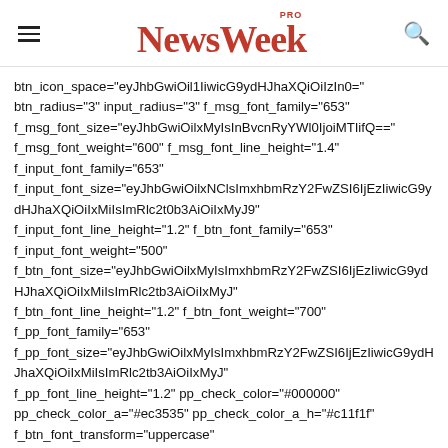NewsWeek PRO
btn_icon_space="eyJhbGwiOil1IiwicG9ydHJhaXQiOiIzIn0=" btn_radius="3" input_radius="3" f_msg_font_family="653" f_msg_font_size="eyJhbGwiOilxMyIsInBvcnRyYWl0IjoiMTIifQ==" f_msg_font_weight="600" f_msg_font_line_height="1.4" f_input_font_family="653" f_input_font_size="eyJhbGwiOilxNClsImxhbmRzY2FwZSI6IjEzIiwicG9ydHJhaXQiOiIxMiIsImRlc2t0b3AiOiIxMyJ9" f_input_font_line_height="1.2" f_btn_font_family="653" f_input_font_weight="500" f_btn_font_size="eyJhbGwiOilxMyIsImxhbmRzY2FwZSI6IjEzIiwicG9ydHJhaXQiOiIxMiIsImRlc2t0b3AiOiIxMyJ9" f_btn_font_line_height="1.2" f_btn_font_weight="700" f_pp_font_family="653" f_pp_font_size="eyJhbGwiOilxMyIsImxhbmRzY2FwZSI6IjEzIiwicG9ydHJhaXQiOiIxMiIsImRlc2t0b3AiOiIxMyJ9" f_pp_font_line_height="1.2" pp_check_color="#000000" pp_check_color_a="#ec3535" pp_check_color_a_h="#c11f1f" f_btn_font_transform="uppercase" tdc_css="eyJhbGwiOnsibWFyZ2luLWJvdHRvbSI6IjQwIiwiZGlzcGxheSI6IiJ9" msg_succ_radius="2" btn_bg="#ec3535" btn_bg_h="#c11f1f" title_space="eyJwb3J0cmFpdCI6IjEyIiwiaNjYXBlIjoiMTQiLCJhbGwiOiI0MyJ9"